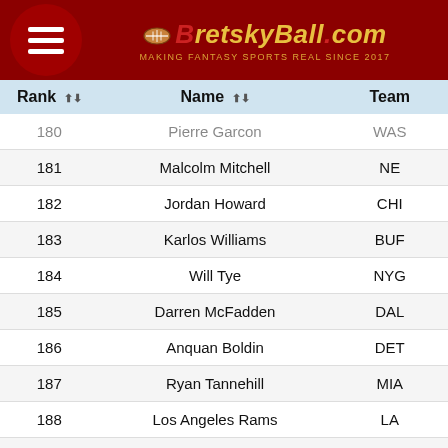BretskyBall.com — Making Fantasy Sports Real Since 2017
| Rank | Name | Team |
| --- | --- | --- |
| 180 | Pierre Garcon | WAS |
| 181 | Malcolm Mitchell | NE |
| 182 | Jordan Howard | CHI |
| 183 | Karlos Williams | BUF |
| 184 | Will Tye | NYG |
| 185 | Darren McFadden | DAL |
| 186 | Anquan Boldin | DET |
| 187 | Ryan Tannehill | MIA |
| 188 | Los Angeles Rams | LA |
| 189 | C.J. Spiller | NO |
| 190 | Paul Perkins | NYG |